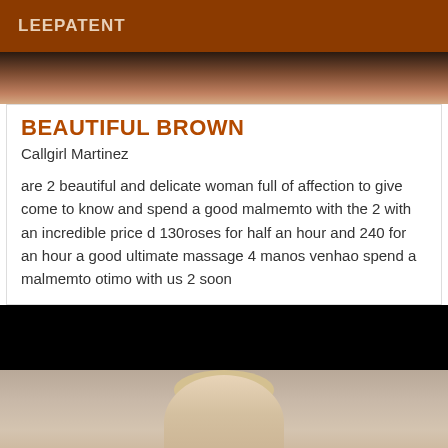LEEPATENT
[Figure (photo): Top portion of a photo showing two people, cropped to show faces/shoulders area with warm skin tones]
BEAUTIFUL BROWN
Callgirl Martinez
are 2 beautiful and delicate woman full of affection to give come to know and spend a good malmemto with the 2 with an incredible price d 130roses for half an hour and 240 for an hour a good ultimate massage 4 manos venhao spend a malmemto otimo with us 2 soon
[Figure (photo): Photo showing a blonde woman against a decorative curtain/drape background, with a dark upper portion and lighter lower portion]